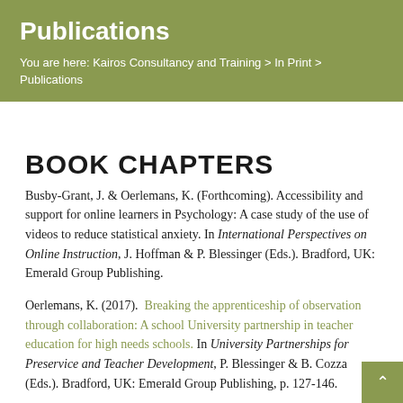Publications
You are here: Kairos Consultancy and Training > In Print > Publications
BOOK CHAPTERS
Busby-Grant, J. & Oerlemans, K. (Forthcoming). Accessibility and support for online learners in Psychology: A case study of the use of videos to reduce statistical anxiety. In International Perspectives on Online Instruction, J. Hoffman & P. Blessinger (Eds.). Bradford, UK: Emerald Group Publishing.
Oerlemans, K. (2017). Breaking the apprenticeship of observation through collaboration: A school University partnership in teacher education for high needs schools. In University Partnerships for Preservice and Teacher Development, P. Blessinger & B. Cozza (Eds.). Bradford, UK: Emerald Group Publishing, p. 127-146.